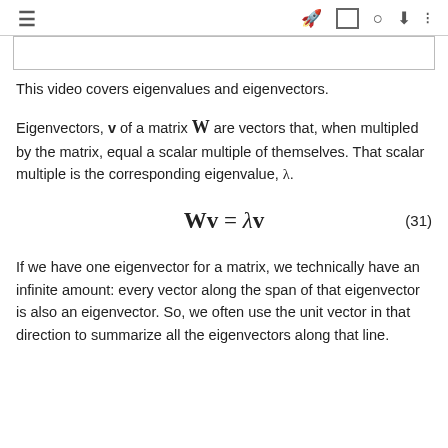≡  🚀  [ ]  ⊙  ⬇  :=
This video covers eigenvalues and eigenvectors.
Eigenvectors, v of a matrix W are vectors that, when multipled by the matrix, equal a scalar multiple of themselves. That scalar multiple is the corresponding eigenvalue, λ.
If we have one eigenvector for a matrix, we technically have an infinite amount: every vector along the span of that eigenvector is also an eigenvector. So, we often use the unit vector in that direction to summarize all the eigenvectors along that line.